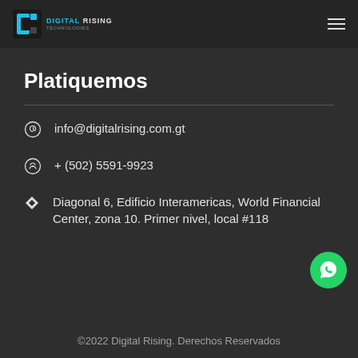Digital Rising | DIGITAL RISING TECHNOLOGIES
Platiquemos
info@digitalrising.com.gt
+ (502) 5591-9923
Diagonal 6, Edificio Interamericas, World Financial Center, zona 10. Primer nivel, local #118
©2022 Digital Rising. Derechos Reservados